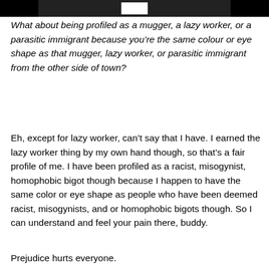[Figure (photo): Partial image of a person shown at the top of the page, mostly cropped, black background visible]
What about being profiled as a mugger, a lazy worker, or a parasitic immigrant because you’re the same colour or eye shape as that mugger, lazy worker, or parasitic immigrant from the other side of town?
Eh, except for lazy worker, can’t say that I have. I earned the lazy worker thing by my own hand though, so that’s a fair profile of me. I have been profiled as a racist, misogynist, homophobic bigot though because I happen to have the same color or eye shape as people who have been deemed racist, misogynists, and or homophobic bigots though. So I can understand and feel your pain there, buddy.
Prejudice hurts everyone.